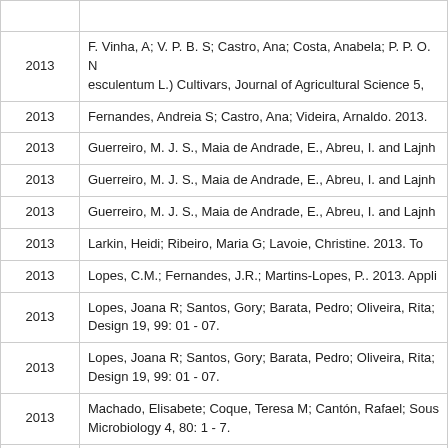| Year | Reference |
| --- | --- |
| 2013 | F. Vinha, A; V. P. B. S; Castro, Ana; Costa, Anabela; P. P. O. N esculentum L.) Cultivars, Journal of Agricultural Science 5, |
| 2013 | Fernandes, Andreia S; Castro, Ana; Videira, Arnaldo. 2013. |
| 2013 | Guerreiro, M. J. S., Maia de Andrade, E., Abreu, I. and Lajnh |
| 2013 | Guerreiro, M. J. S., Maia de Andrade, E., Abreu, I. and Lajnh |
| 2013 | Guerreiro, M. J. S., Maia de Andrade, E., Abreu, I. and Lajnh |
| 2013 | Larkin, Heidi; Ribeiro, Maria G; Lavoie, Christine. 2013. To |
| 2013 | Lopes, C.M.; Fernandes, J.R.; Martins-Lopes, P.. 2013. Appli |
| 2013 | Lopes, Joana R; Santos, Gory; Barata, Pedro; Oliveira, Rita; Design 19, 99: 01 - 07. |
| 2013 | Lopes, Joana R; Santos, Gory; Barata, Pedro; Oliveira, Rita; Design 19, 99: 01 - 07. |
| 2013 | Machado, Elisabete; Coque, Teresa M; Cantón, Rafael; Sous Microbiology 4, 80: 1 - 7. |
| 2013 | Moro, Fernando Santos, António João, Alb... |